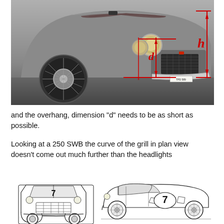[Figure (photo): Front three-quarter photo of a Ferrari 250 SWB classic sports car in silver-grey with dark red racing stripes. Red annotation lines overlay the image indicating dimension 'd' (front overhang) and dimension 'h' (headlight height). The car has a chrome wire-spoke wheel, round headlights, egg-crate grille, and license plate TPD 589.]
and the overhang, dimension "d" needs to be as short as possible.
Looking at a 250 SWB the curve of the grill in plan view doesn't come out much further than the headlights
[Figure (illustration): Two black-and-white line drawing illustrations of a Ferrari 250 SWB racing car: left drawing shows the front view with number 7 on the hood, right drawing shows the side profile with number 7 on the door.]